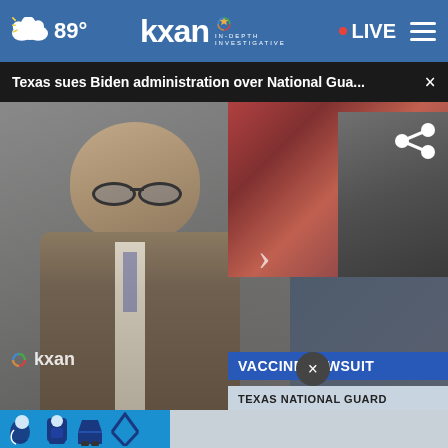89° KXAN IN-DEPTH INVESTIGATIVE • LIVE
Texas sues Biden administration over National Gua... ×
[Figure (screenshot): KXAN news broadcast screenshot showing a male news anchor in a suit with glasses, with an inset showing a politician speaking. Lower-third graphic reads 'VACCINE LAWSUIT / TEXAS NATIONAL GUARD'. KXAN watermark visible in lower left.]
[Figure (photo): Partially visible advertisement at bottom showing car safety seat icons on a blue background with 'The Right Seat' CTA button and NHTSA logo.]